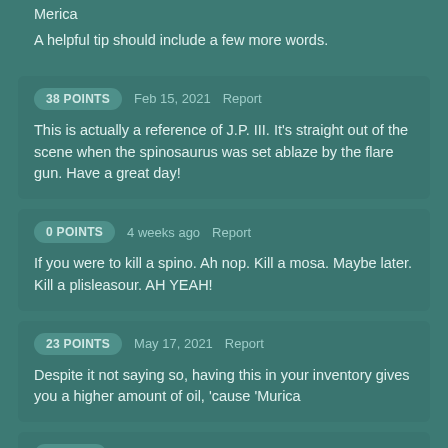Merica
A helpful tip should include a few more words.
38 POINTS   Feb 15, 2021   Report
This is actually a reference of J.P. III. It's straight out of the scene when the spinosaurus was set ablaze by the flare gun. Have a great day!
0 POINTS   4 weeks ago   Report
If you were to kill a spino. Ah nop. Kill a mosa. Maybe later. Kill a plisleasour. AH YEAH!
23 POINTS   May 17, 2021   Report
Despite it not saying so, having this in your inventory gives you a higher amount of oil, 'cause 'Murica
1 POINT   Jun 19, 2022   Report